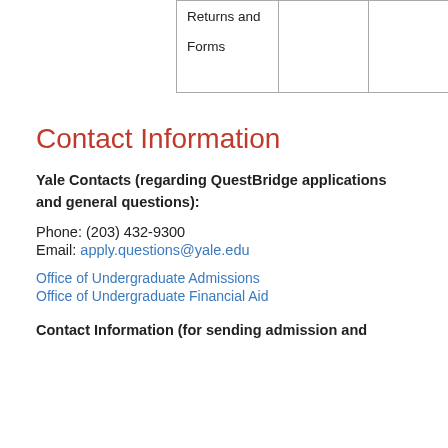|  |  |  |
| --- | --- | --- |
| Returns and
Forms |  |  |
Contact Information
Yale Contacts (regarding QuestBridge applications and general questions):
Phone: (203) 432-9300
Email: apply.questions@yale.edu
Office of Undergraduate Admissions
Office of Undergraduate Financial Aid
Contact Information (for sending admission and